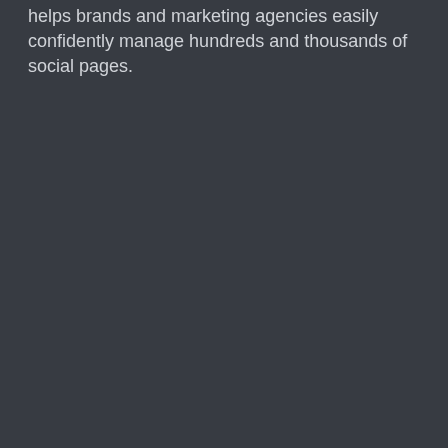helps brands and marketing agencies easily confidently manage hundreds and thousands of social pages.